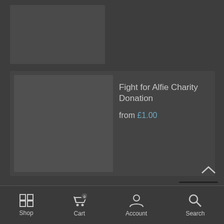[Figure (screenshot): Product image placeholder - top, partially visible]
Fight for Alfie Charity Donation
from £1.00
Trust Us
[Figure (logo): REVIEWS.io logo with star icon and 'Trusted Site' tagline]
Shop  Cart  Account  Search